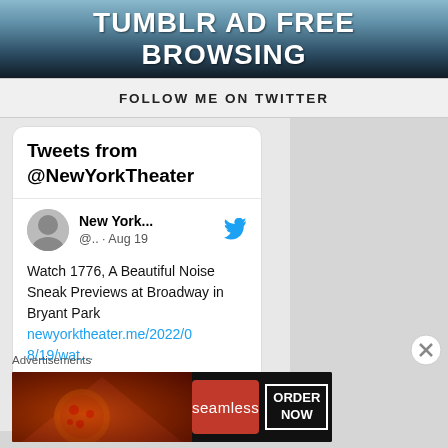[Figure (screenshot): Banner ad for ad-free browsing with text 'TUMBLR AD FREE BROWSING' on dark blue gradient background]
FOLLOW ME ON TWITTER
[Figure (screenshot): Twitter widget showing tweets from @NewYorkTheater. Tweet reads: Watch 1776, A Beautiful Noise Sneak Previews at Broadway in Bryant Park newyorktheater.me/2022/08/19/wat...]
Advertisements
[Figure (screenshot): Seamless food delivery advertisement banner showing pizza and ORDER NOW button]